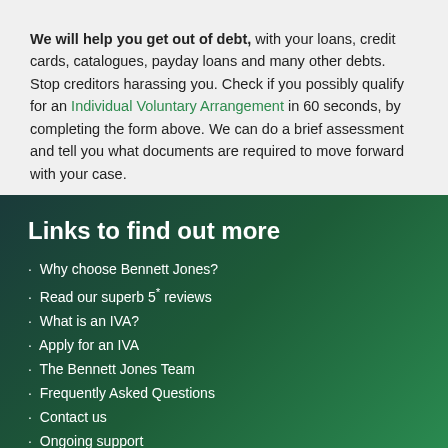We will help you get out of debt, with your loans, credit cards, catalogues, payday loans and many other debts. Stop creditors harassing you. Check if you possibly qualify for an Individual Voluntary Arrangement in 60 seconds, by completing the form above. We can do a brief assessment and tell you what documents are required to move forward with your case.
Links to find out more
Why choose Bennett Jones?
Read our superb 5* reviews
What is an IVA?
Apply for an IVA
The Bennett Jones Team
Frequently Asked Questions
Contact us
Ongoing support
What debts can be cleared?